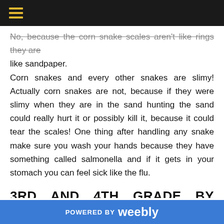Navigation bar with hamburger menu icon
No, because the corn snake scales aren't like rings they are like sandpaper.
Corn snakes and every other snakes are slimy! Actually corn snakes are not, because if they were slimy when they are in the sand hunting the sand could really hurt it or possibly kill it, because it could tear the scales! One thing after handling any snake make sure you wash your hands because they have something called salmonella and if it gets in your stomach you can feel sick like the flu.
3RD AND 4TH GRADE BY TRISTAN MCCARTHY
Hi, it's Tristan McCarthy reporting on social studies in the third and fourth grade. The 3rd and 4th grade went to California
POWERED BY weebly